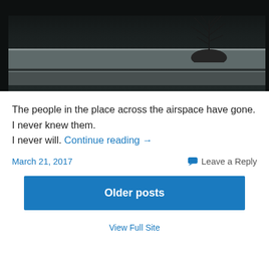[Figure (photo): Dark photograph showing what appears to be a window ledge or building exterior with a bare plant/shrub in a pot, taken at night or in low light conditions]
The people in the place across the airspace have gone.
I never knew them.
I never will. Continue reading →
March 21, 2017      Leave a Reply
Older posts
View Full Site